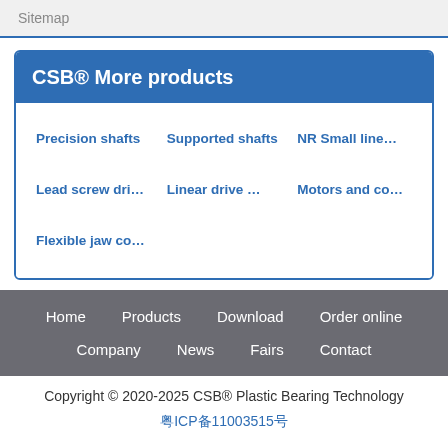Sitemap
CSB® More products
Precision shafts
Supported shafts
NR Small line…
Lead screw dri…
Linear drive …
Motors and co…
Flexible jaw co…
Home  Products  Download  Order online  Company  News  Fairs  Contact
Copyright © 2020-2025 CSB® Plastic Bearing Technology
粤ICP备11003515号